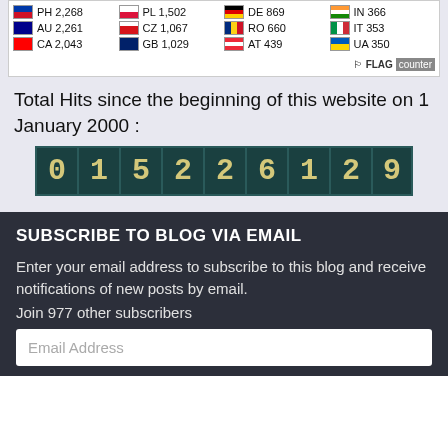[Figure (other): Flag counter widget showing country codes and visitor counts: PH 2,268 | PL 1,502 | DE 869 | IN 366 | AU 2,261 | CZ 1,067 | RO 660 | IT 353 | CA 2,043 | GB 1,029 | AT 439 | UA 350. Flag Counter logo at bottom right.]
Total Hits since the beginning of this website on 1 January 2000 :
[Figure (other): Odometer-style hit counter displaying the number 015226129]
SUBSCRIBE TO BLOG VIA EMAIL
Enter your email address to subscribe to this blog and receive notifications of new posts by email.
Join 977 other subscribers
Email Address